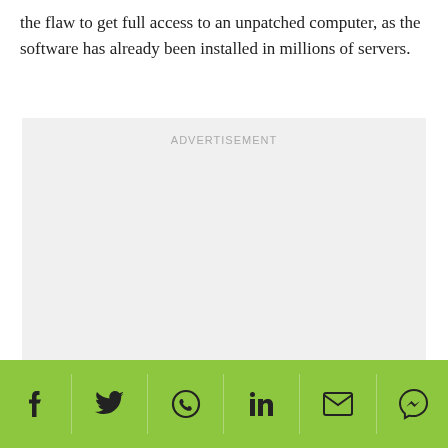the flaw to get full access to an unpatched computer, as the software has already been installed in millions of servers.
[Figure (other): Advertisement placeholder block with light gray background and 'ADVERTISEMENT' label at top center]
[Figure (infographic): Green social sharing bar with icons for Facebook, Twitter, WhatsApp, LinkedIn, Email, and Messenger]